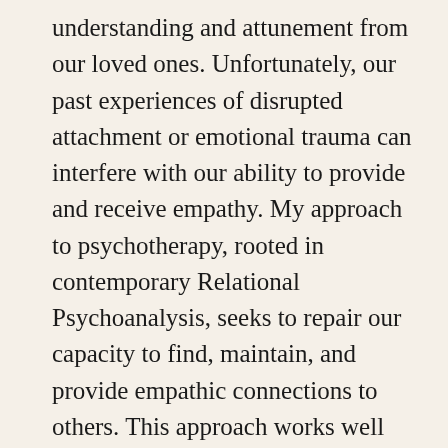understanding and attunement from our loved ones. Unfortunately, our past experiences of disrupted attachment or emotional trauma can interfere with our ability to provide and receive empathy. My approach to psychotherapy, rooted in contemporary Relational Psychoanalysis, seeks to repair our capacity to find, maintain, and provide empathic connections to others. This approach works well with both couples and individuals. Many of my couples clients feel that they are able to grow as individuals through the therapy process, overcoming lifelong self-defeating patterns. And in the safety of an emphatically attuned therapeutic relationship, individual clients can heal past traumas and find the capacity to grow into